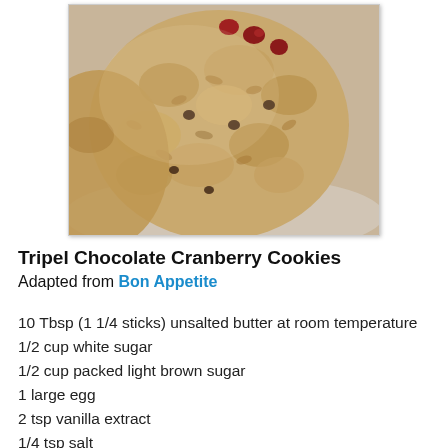[Figure (photo): Close-up photo of oatmeal cranberry chocolate chip cookies on a plate, showing texture with oats and red cranberries visible on top]
Tripel Chocolate Cranberry Cookies
Adapted from Bon Appetite
10 Tbsp (1 1/4 sticks) unsalted butter at room temperature
1/2 cup white sugar
1/2 cup packed light brown sugar
1 large egg
2 tsp vanilla extract
1/4 tsp salt
1/2 cup white whole wheat flour